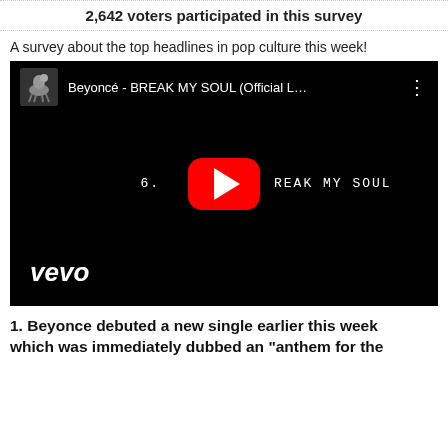2,642 voters participated in this survey
A survey about the top headlines in pop culture this week!
[Figure (screenshot): YouTube video thumbnail for Beyoncé - BREAK MY SOUL (Official L...) with Vevo branding, showing a play button and track title text, hosted on a black background.]
1. Beyonce debuted a new single earlier this week which was immediately dubbed an "anthem for the